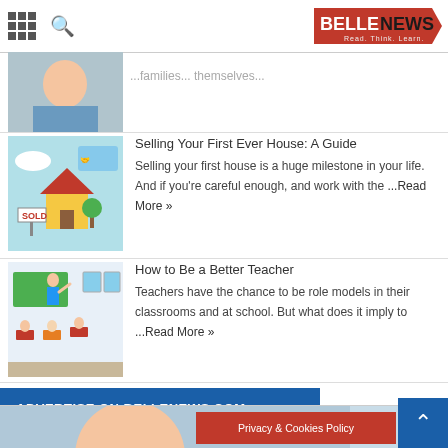BELLENEWS - Read. Think. Learn.
[Figure (illustration): Partial article thumbnail showing a face, content cut off at top]
...Read More »
[Figure (illustration): Cartoon illustration of a house sale with handshake and SOLD sign]
Selling Your First Ever House: A Guide
Selling your first house is a huge milestone in your life. And if you're careful enough, and work with the ...Read More »
[Figure (photo): Classroom photo with teacher and students at desks]
How to Be a Better Teacher
Teachers have the chance to be role models in their classrooms and at school. But what does it imply to ...Read More »
ADVERTISE ON BELLENEWS.COM
[Figure (photo): Partial photo of a woman at the bottom of the page]
Privacy & Cookies Policy